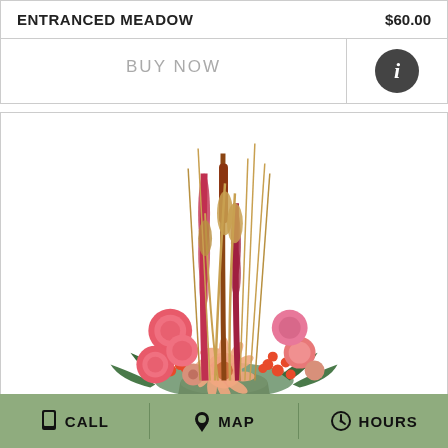ENTRANCED MEADOW
$60.00
BUY NOW
[Figure (photo): A flower arrangement called Entranced Meadow featuring pink ranunculus, a peach gerbera daisy, pink/red spike flowers, wheat stalks, dried cattails, red hypericum berries, pink scabiosa, and green foliage in a stone-look vase.]
CALL  MAP  HOURS